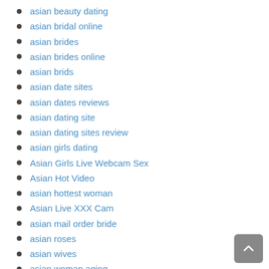asian beauty dating
asian bridal online
asian brides
asian brides online
asian brids
asian date sites
asian dates reviews
asian dating site
asian dating sites review
asian girls dating
Asian Girls Live Webcam Sex
Asian Hot Video
asian hottest woman
Asian Live XXX Cam
asian mail order bride
asian roses
asian wives
asian woman aging
asian women
asian women dating site
asian women for marriage